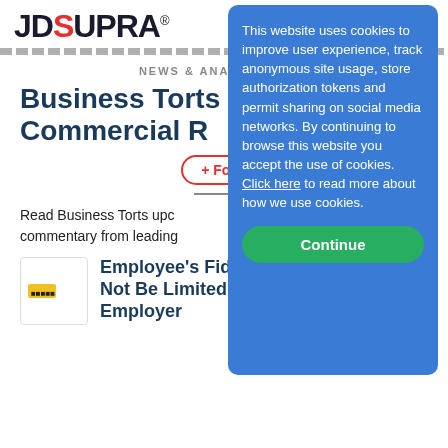JD SUPRA® — MENU
NEWS & ANALYSIS AS C
Business Torts & Commercial R
+ Follow
Read Business Torts updates and commentary from leading
[Figure (screenshot): Cookie consent modal overlay on blue background. Text: 'This website uses cookies to improve user experience, track anonymous site usage, store authorization tokens and permit sharing on social media networks. By continuing to browse this website you accept the use of cookies. Click here to read more about how we use cookies.' Green Continue button at bottom.]
[Figure (logo): Small yellow/orange logo thumbnail for article]
Employee's Fiduciary Duty May Not Be Limited To Former Employer